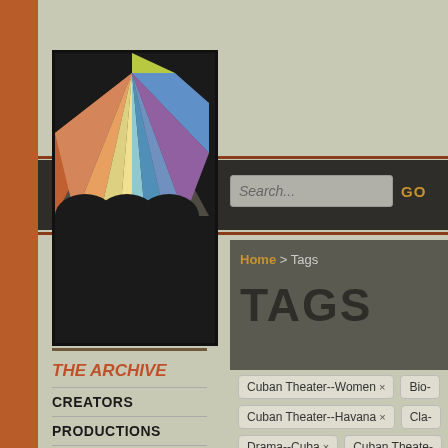[Figure (logo): Cuban Theater Digital Archive logo with colorful geometric art nouveau style illustration above bold white text on black background]
Search...
GO
Home > Tags
TAGS
THE ARCHIVE
CREATORS
PRODUCTIONS
WRITTEN WORKS
Cuban Theater--Women ×
Bio-
Cuban Theater--Havana ×
Cla-
Drama--Cuba ×
Cuban Theate-
Adaptations ×
Cuban American-